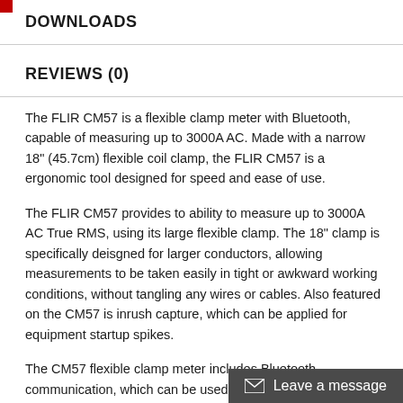DOWNLOADS
REVIEWS (0)
The FLIR CM57 is a flexible clamp meter with Bluetooth, capable of measuring up to 3000A AC. Made with a narrow 18" (45.7cm) flexible coil clamp, the FLIR CM57 is a ergonomic tool designed for speed and ease of use.
The FLIR CM57 provides to ability to measure up to 3000A AC True RMS, using its large flexible clamp. The 18" clamp is specifically deisgned for larger conductors, allowing measurements to be taken easily in tight or awkward working conditions, without tangling any wires or cables. Also featured on the CM57 is inrush capture, which can be applied for equipment startup spikes.
The CM57 flexible clamp meter includes Bluetooth communication, which can be used for remote viewing and data transfer to mobile devices via FLIR Tools Mobile. This ability allows the user to view and analyze data on site.